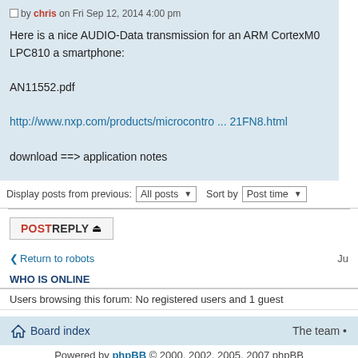Post by chris on Fri Sep 12, 2014 4:00 pm
Here is a nice AUDIO-Data transmission for an ARM CortexM0 LPC810 a smartphone:
AN11552.pdf
http://www.nxp.com/products/microcontro ... 21FN8.html
download ==> application notes
Display posts from previous: All posts Sort by Post time
POSTREPLY
Return to robots
WHO IS ONLINE
Users browsing this forum: No registered users and 1 guest
Board index  The team •
Powered by phpBB © 2000, 2002, 2005, 2007 phpBB